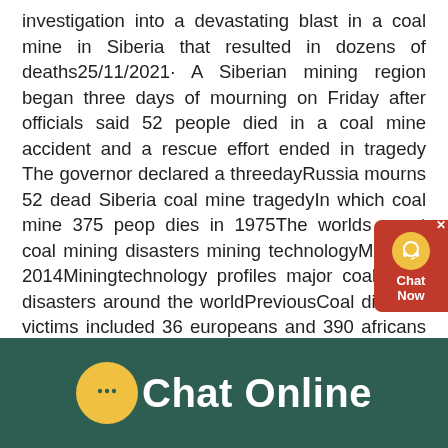investigation into a devastating blast in a coal mine in Siberia that resulted in dozens of deaths25/11/2021· A Siberian mining region began three days of mourning on Friday after officials said 52 people died in a coal mine accident and a rescue effort ended in tragedy The governor declared a threedayRussia mourns 52 dead Siberia coal mine tragedyIn which coal mine 375 peop dies in 1975The worlds worst coal mining disasters mining technologyMay 15, 2014Miningtechnology profiles major coal mine disasters around the worldPreviousCoal disaster victims included 36 europeans and 390 africans Read More 2 Dead In Gansu Coal Mine Blast Peoples Daily Online Lanzhou, april 24 xinhua a blast at aIn Which Coal Mine People Dies In b4bbest4bodyde
[Figure (other): Chat Now widget overlay — red background with white headset icon and 'Chat Now' label]
[Figure (other): Dark teal footer banner with yellow speech bubble icon and white 'Chat Online' text]